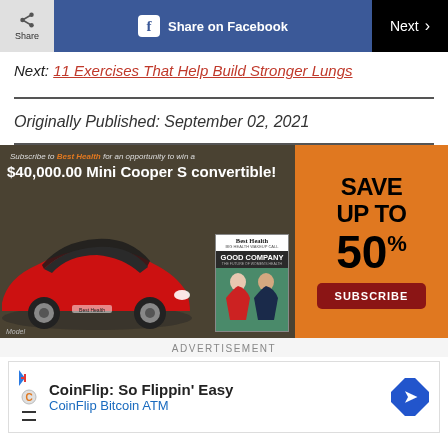Share | Share on Facebook | Next >
Next: 11 Exercises That Help Build Stronger Lungs
Originally Published: September 02, 2021
[Figure (photo): Advertisement banner for Best Health magazine subscription featuring a red Mini Cooper S convertible, Best Health magazine cover with 'Good Company', and an orange right panel offering 'Save Up To 50%' with a Subscribe button.]
ADVERTISEMENT
CoinFlip: So Flippin' Easy CoinFlip Bitcoin ATM